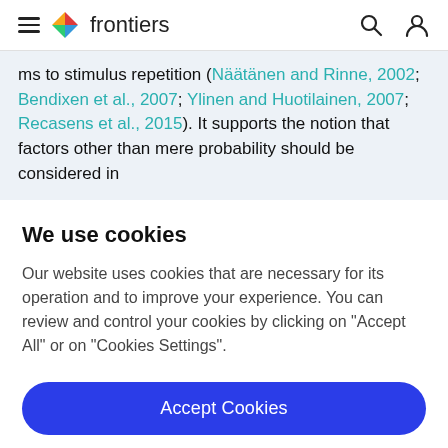frontiers
ms to stimulus repetition (Näätänen and Rinne, 2002; Bendixen et al., 2007; Ylinen and Huotilainen, 2007; Recasens et al., 2015). It supports the notion that factors other than mere probability should be considered in
We use cookies
Our website uses cookies that are necessary for its operation and to improve your experience. You can review and control your cookies by clicking on "Accept All" or on "Cookies Settings".
Accept Cookies
Cookies Settings